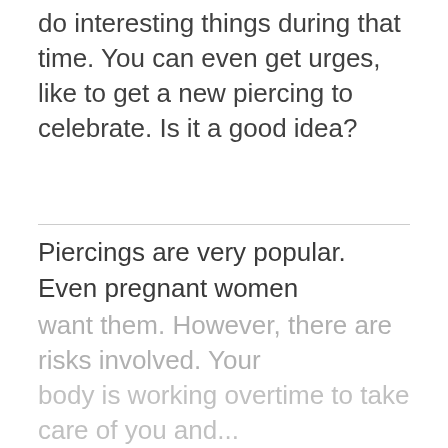do interesting things during that time. You can even get urges, like to get a new piercing to celebrate. Is it a good idea?
Piercings are very popular. Even pregnant women want them. However, there are risks involved. Your body is working overtime to take care of you and...